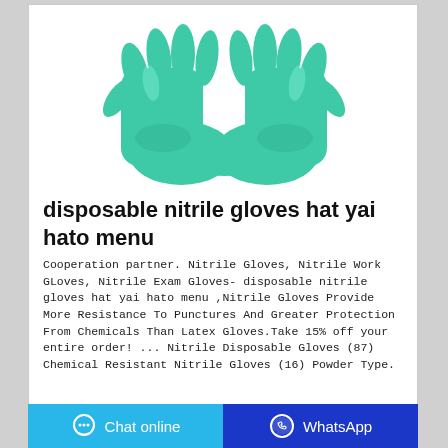[Figure (photo): A pair of green nitrile rubber gloves, hands clasped together, photographed on a white background.]
disposable nitrile gloves hat yai hato menu
Cooperation partner. Nitrile Gloves, Nitrile Work GLoves, Nitrile Exam Gloves- disposable nitrile gloves hat yai hato menu ,Nitrile Gloves Provide More Resistance To Punctures And Greater Protection From Chemicals Than Latex Gloves.Take 15% off your entire order! ... Nitrile Disposable Gloves (87) Chemical Resistant Nitrile Gloves (16) Powder Type.
Chat online   WhatsApp